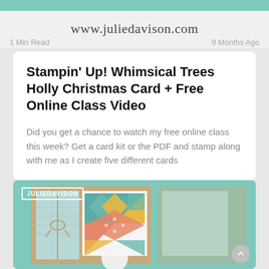www.juliedavison.com
1 Min Read    9 Months Ago
Stampin' Up! Whimsical Trees Holly Christmas Card + Free Online Class Video
Did you get a chance to watch my free online class this week? Get a card kit or the PDF and stamp along with me as I create five different cards
[Figure (photo): Photo of a handmade Christmas card with geometric quilt-style pattern in teal, yellow, and coral/salmon colors on a kraft paper background, with a teal background. JULIEDAVISON watermark badge in top left.]